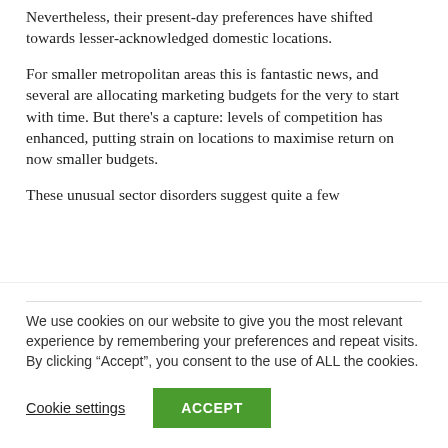Nevertheless, their present-day preferences have shifted towards lesser-acknowledged domestic locations.
For smaller metropolitan areas this is fantastic news, and several are allocating marketing budgets for the very to start with time. But there’s a capture: levels of competition has enhanced, putting strain on locations to maximise return on now smaller budgets.
These unusual sector disorders suggest quite a few
We use cookies on our website to give you the most relevant experience by remembering your preferences and repeat visits. By clicking “Accept”, you consent to the use of ALL the cookies.
Cookie settings
ACCEPT